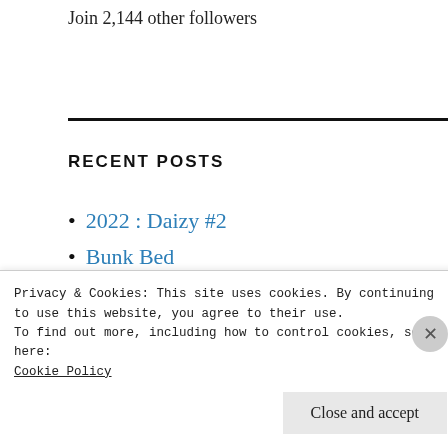Join 2,144 other followers
RECENT POSTS
2022 : Daizy #2
Bunk Bed
Cruise #2
2022 : Daizy
2018 : Willunga
Privacy & Cookies: This site uses cookies. By continuing to use this website, you agree to their use.
To find out more, including how to control cookies, see here:
Cookie Policy
Close and accept